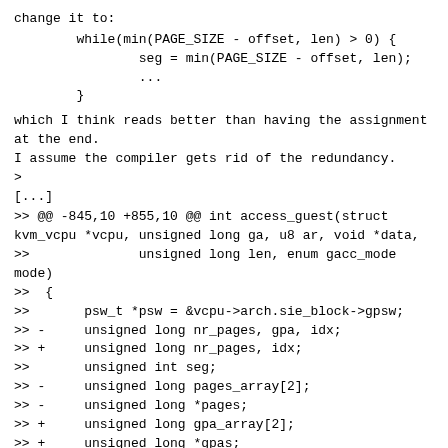change it to:
while(min(PAGE_SIZE - offset, len) > 0) {
                seg = min(PAGE_SIZE - offset, len);
                ...
        }
which I think reads better than having the assignment
at the end.
I assume the compiler gets rid of the redundancy.
>
[...]
>> @@ -845,10 +855,10 @@ int access_guest(struct
kvm_vcpu *vcpu, unsigned long ga, u8 ar, void *data,
>>              unsigned long len, enum gacc_mode
mode)
>>  {
>>       psw_t *psw = &vcpu->arch.sie_block->gpsw;
>> -     unsigned long nr_pages, gpa, idx;
>> +     unsigned long nr_pages, idx;
>>       unsigned int seg;
>> -     unsigned long pages_array[2];
>> -     unsigned long *pages;
>> +     unsigned long gpa_array[2];
>> +     unsigned long *gpas;
>
> reverse Christmas tree?
>
> also, since you're touching this; have you checked if